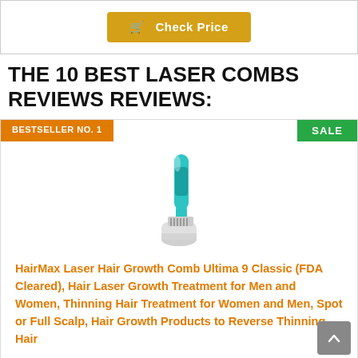[Figure (other): Check Price button with shopping cart icon, gold/amber colored button]
THE 10 BEST LASER COMBS REVIEWS REVIEWS:
[Figure (photo): HairMax laser hair growth comb product image - teal/turquoise colored device standing upright with comb teeth at bottom]
HairMax Laser Hair Growth Comb Ultima 9 Classic (FDA Cleared), Hair Laser Growth Treatment for Men and Women, Thinning Hair Treatment for Women and Men, Spot or Full Scalp, Hair Growth Products to Reverse Thinning Hair